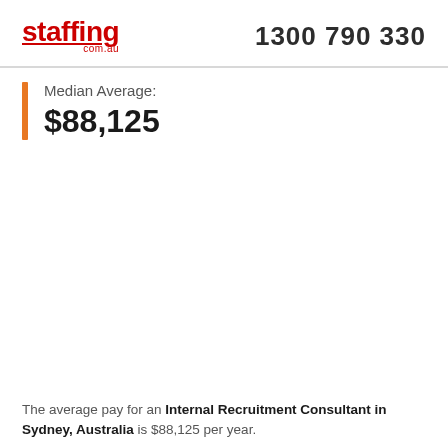staffing.com.au   1300 790 330
Median Average:
$88,125
The average pay for an Internal Recruitment Consultant in Sydney, Australia is $88,125 per year. Salaries vary from a low of $60K up to $120K per year. The average number of Internal Recruitment Consultant roles advertised per month is 3 in Sydney, Australia between